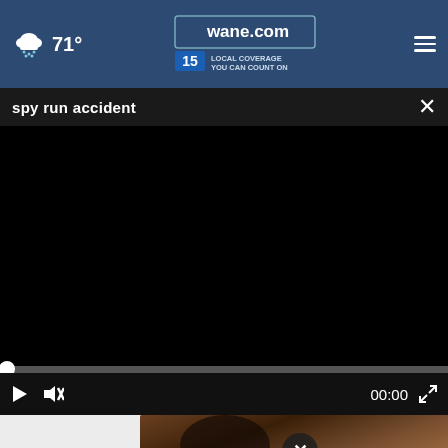71° | wane.com 15 LOCAL COVERAGE YOU CAN COUNT ON
spy run accident
[Figure (screenshot): Black video player area with progress bar at bottom left and controls including play, mute, time display 00:00 and fullscreen button]
[Figure (photo): Partial thumbnail of a person with dark hair, with a close X circle button overlay]
[Figure (other): University of Saint Francis advertisement banner: Earn a full or half-tuition scholarship for 4 years!]
Ad by SmartAsset